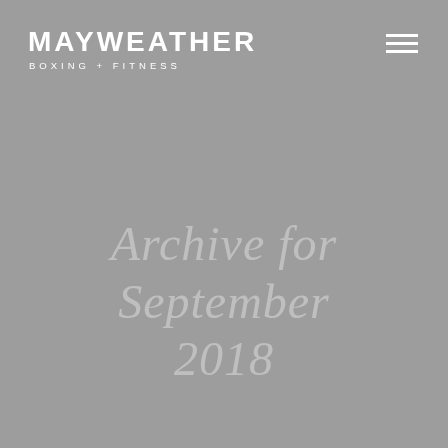MAYWEATHER BOXING + FITNESS
Archive for September 2018